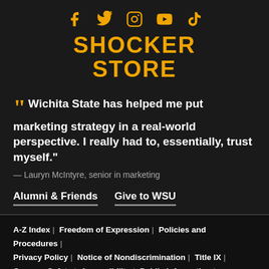[Figure (logo): Social media icons row: Facebook, Twitter, Instagram, YouTube, TikTok in gold]
SHOCKER STORE
" Wichita State has helped me put marketing strategy in a real-world perspective. I really had to, essentially, trust myself."
— Lauryn McIntyre, senior in marketing
Alumni & Friends
Give to WSU
A-Z Index | Freedom of Expression | Policies and Procedures | Privacy Policy | Notice of Nondiscrimination | Title IX | Campus Safety | Accessibility | Public Information | Website Support | KBOR Freedom of Expression Statement | HLC Accreditation